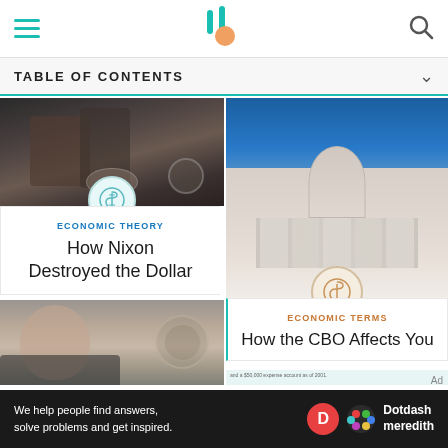TABLE OF CONTENTS
[Figure (screenshot): Mobile app header with hamburger menu, logo, and search icon]
[Figure (photo): Photo of Nixon at a podium with presidential seal]
ECONOMIC THEORY
How Nixon Destroyed the Dollar
[Figure (photo): Photo of US Capitol building]
ECONOMIC TERMS
How the CBO Affects You
[Figure (photo): Photo of Jerome Powell]
[Figure (infographic): Infographic about presidential salaries showing Jimmy Carter and Bill Clinton]
[Figure (logo): Dotdash Meredith advertisement banner]